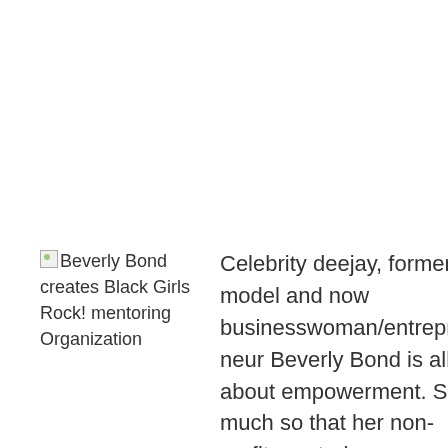[Figure (photo): Broken image placeholder with alt text: Beverly Bond creates Black Girls Rock! mentoring Organization]
Celebrity deejay, former model and now businesswoman/entrepreneur Beverly Bond is all about empowerment. So much so that her non-profit mentoring program and awards show Black Girls Rock! (BGR) are still